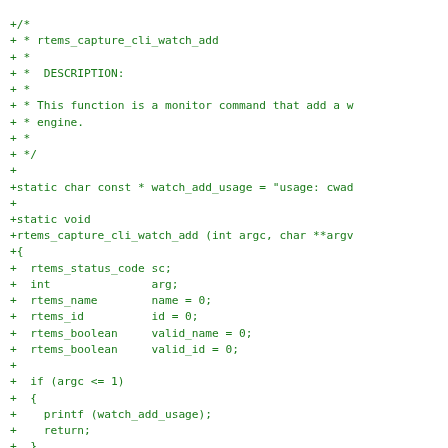[Figure (other): Diff/patch of C source code showing the addition of rtems_capture_cli_watch_add function with variable declarations and control flow]